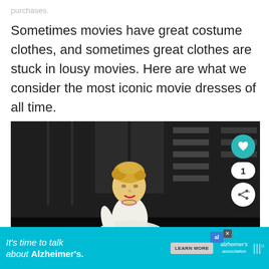purchases.
Sometimes movies have great costume clothes, and sometimes great clothes are stuck in lousy movies. Here are what we consider the most iconic movie dresses of all time.
[Figure (photo): A statue of Marilyn Monroe in her iconic white dress, photographed against a dark background of a building exterior. Social interaction buttons (heart/like, share) are overlaid on the right side of the image.]
It's time to talk about Alzheimer's.   LEARN MORE   alzheimer's association